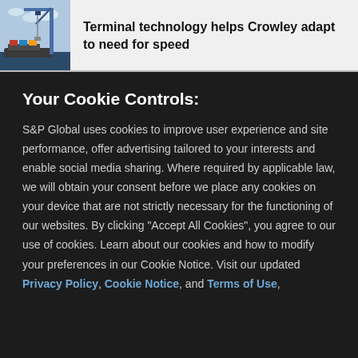[Figure (photo): Photo of a shipping port with large blue crane and containers against a cloudy sky]
Terminal technology helps Crowley adapt to need for speed
Your Cookie Controls:
S&P Global uses cookies to improve user experience and site performance, offer advertising tailored to your interests and enable social media sharing. Where required by applicable law, we will obtain your consent before we place any cookies on your device that are not strictly necessary for the functioning of our websites. By clicking "Accept All Cookies", you agree to our use of cookies. Learn about our cookies and how to modify your preferences in our Cookie Notice. Visit our updated Privacy Policy, Cookie Notice, and Terms of Use,